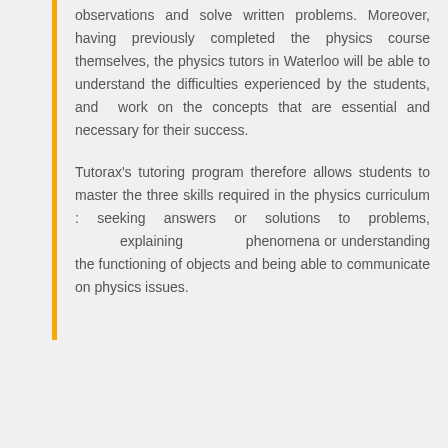observations and solve written problems. Moreover, having previously completed the physics course themselves, the physics tutors in Waterloo will be able to understand the difficulties experienced by the students, and work on the concepts that are essential and necessary for their success.
Tutorax's tutoring program therefore allows students to master the three skills required in the physics curriculum : seeking answers or solutions to problems, explaining phenomena or understanding the functioning of objects and being able to communicate on physics issues.